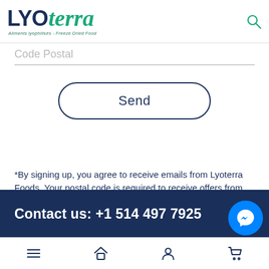[Figure (logo): LYOterra logo with tagline - freeze-dried food brand]
Code Postal
Send
*By signing up, you agree to receive emails from Lyoterra Foods. Your postal code is required to receive offers from your region.
Contact us: +1 514 497 7925
[Figure (other): Facebook Messenger chat bubble icon]
[Figure (other): Bottom navigation bar with menu, home, profile, cart icons]